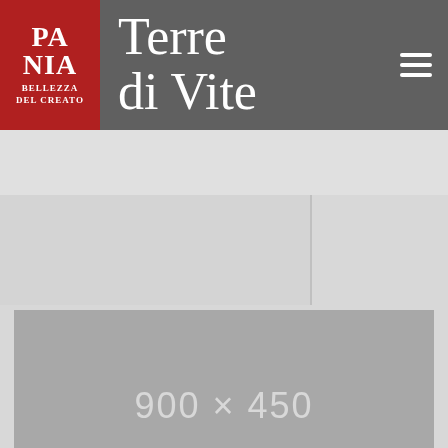[Figure (logo): Website header with logo and navigation. Left side: red box with 'PA NIA BELLEZZA DEL CREATO' text. Center: 'Terre di Vite' site title in large serif font on dark gray background. Right: hamburger menu icon.]
[Figure (other): Placeholder image area showing '900 × 450' in light text on medium gray background.]